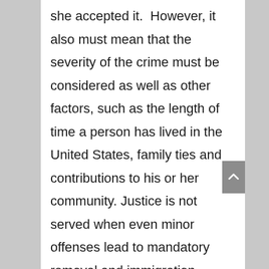she accepted it.  However, it also must mean that the severity of the crime must be considered as well as other factors, such as the length of time a person has lived in the United States, family ties and contributions to his or her community. Justice is not served when even minor offenses lead to mandatory removal and immigration judges lack discretion to consider any other factors.  Congress must restore immigration judges' discretion to